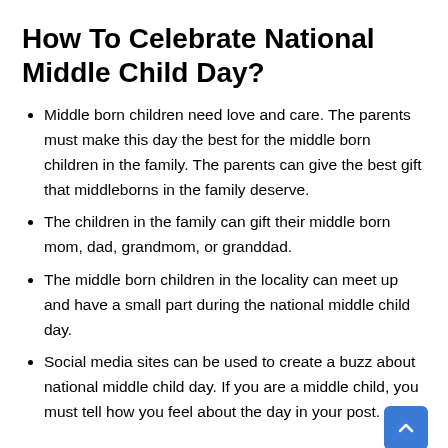How To Celebrate National Middle Child Day?
Middle born children need love and care. The parents must make this day the best for the middle born children in the family. The parents can give the best gift that middleborns in the family deserve.
The children in the family can gift their middle born mom, dad, grandmom, or granddad.
The middle born children in the locality can meet up and have a small part during the national middle child day.
Social media sites can be used to create a buzz about national middle child day. If you are a middle child, you must tell how you feel about the day in your post.